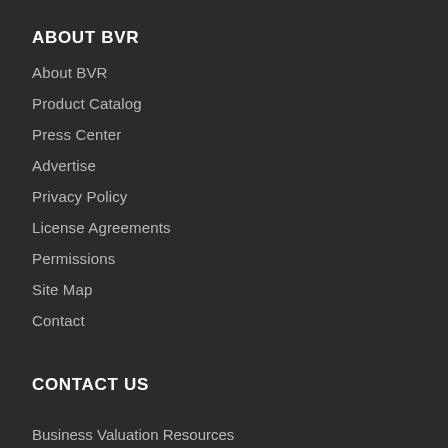ABOUT BVR
About BVR
Product Catalog
Press Center
Advertise
Privacy Policy
License Agreements
Permissions
Site Map
Contact
CONTACT US
Business Valuation Resources
111 SW Columbia St, Suite 750